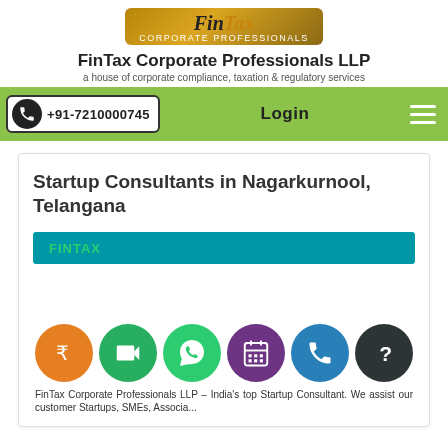[Figure (logo): FinTax Corporate Professionals logo with golden gradient background, italic serif font, and subtitle 'CORPORATE PROFESSIONALS']
FinTax Corporate Professionals LLP
a house of corporate compliance, taxation & regulatory services
+91-7210000745   Login
Startup Consultants in Nagarkurnool, Telangana
FINTAX
[Figure (infographic): Row of six colored circular icons: orange Rupee icon, dark green video camera icon, green WhatsApp icon, purple calendar icon, blue phone icon, dark grey question mark icon]
FinTax Corporate Professionals LLP – India's top Startup Consultant. We assist our customer Startups, SMEs, Associa...